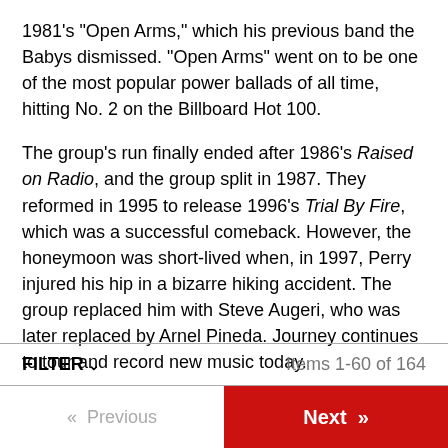1981's "Open Arms," which his previous band the Babys dismissed. "Open Arms" went on to be one of the most popular power ballads of all time, hitting No. 2 on the Billboard Hot 100.
The group's run finally ended after 1986's Raised on Radio, and the group split in 1987. They reformed in 1995 to release 1996's Trial By Fire, which was a successful comeback. However, the honeymoon was short-lived when, in 1997, Perry injured his hip in a bizarre hiking accident. The group replaced him with Steve Augeri, who was later replaced by Arnel Pineda. Journey continues to tour and record new music today.
FILTER  Items 1-60 of 164
« Previous   Next »